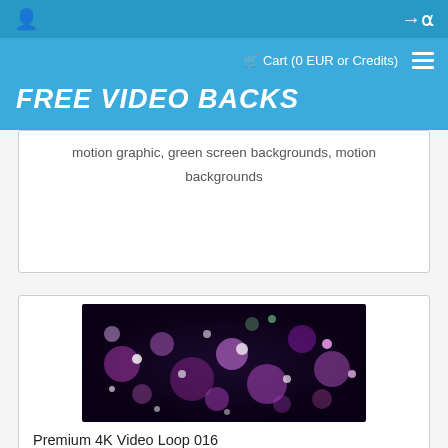FREE VIDEO BACKS
Cart (0 EUR or Credits)
motion graphic, green screen backgrounds, motion backgrounds
[Figure (photo): Close-up photo of purple and pink bokeh light circles against a dark background]
Premium 4K Video Loop 016